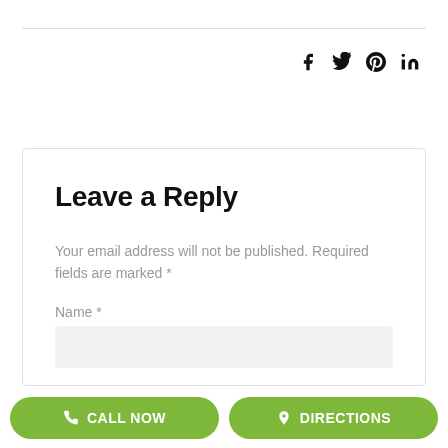[Figure (other): Social media share icons: Facebook (f), Twitter (bird), Pinterest (P circle), LinkedIn (in)]
Leave a Reply
Your email address will not be published. Required fields are marked *
Name *
[Figure (other): Call Now button (green rounded rectangle with phone icon)]
[Figure (other): Directions button (green rounded rectangle with location pin icon)]